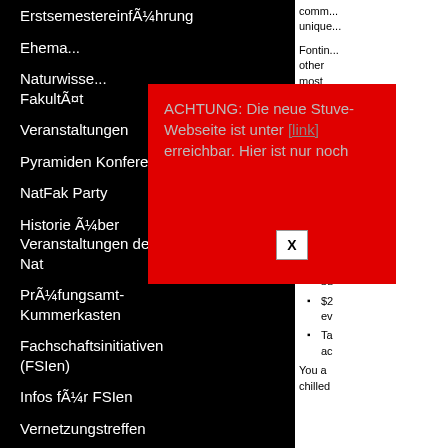ErstsemestereinführungÃ¼hrung
Ehema...
Naturwisse... FakultÃ¤t
Veranstaltungen
Pyramiden Konferenz
NatFak Party
Historie Ã¼ber Veranstaltungen der FSV Nat
PrÃ¼fungsamt-Kummerkasten
Fachschaftsinitiativen (FSIen)
Infos fÃ¼r FSIen
Vernetzungstreffen
Haushaltsmittel
Sitzungen und Protokolle
ACHTUNG: Die neue Stuve-Webseite ist unter [link] erreichbar. Hier ist nur noch Archiv.
comm... unique...
Fontin... other most tende a com white- parme...
An inc stu be
W pr
He bu
$2 ev
Ta ac
You a chilled